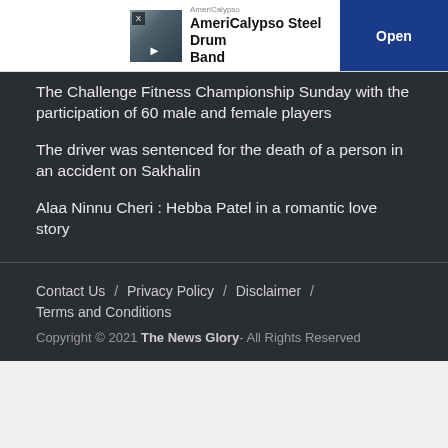[Figure (other): Advertisement banner for AmeriCalypso Steel Drum Band with an Open button]
The Challenge Fitness Championship Sunday with the participation of 60 male and female players
The driver was sentenced for the death of a person in an accident on Sakhalin
Alaa Ninnu Cheri : Hebba Patel in a romantic love story
Contact Us / Privacy Policy / Disclaimer / Terms and Conditions Copyright © 2021 The News Glory- All Rights Reserved